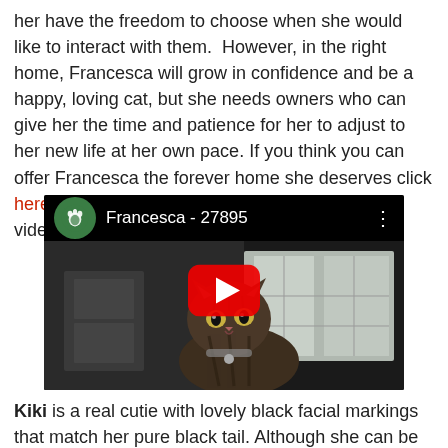her have the freedom to choose when she would like to interact with them.  However, in the right home, Francesca will grow in confidence and be a happy, loving cat, but she needs owners who can give her the time and patience for her to adjust to her new life at her own pace. If you think you can offer Francesca the forever home she deserves click here to find out more. Don't forget to watch her video!
[Figure (screenshot): YouTube video thumbnail for 'Francesca - 27895' showing a tabby cat looking at the camera, with a YouTube-style play button overlay and video title bar with a green animal rescue logo.]
Kiki is a real cutie with lovely black facial markings that match her pure black tail. Although she can be timid, she likes to be stroked and let's you know she would like some